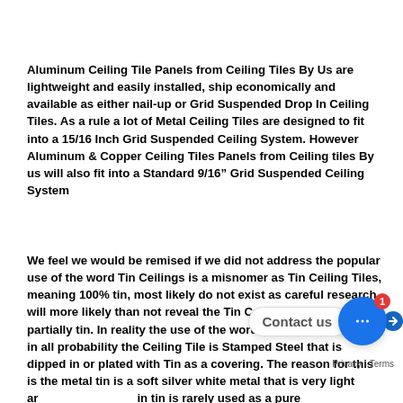Aluminum Ceiling Tile Panels from Ceiling Tiles By Us are lightweight and easily installed, ship economically and available as either nail-up or Grid Suspended Drop In Ceiling Tiles. As a rule a lot of Metal Ceiling Tiles are designed to fit into a 15/16 Inch Grid Suspended Ceiling System. However Aluminum & Copper Ceiling Tiles Panels from Ceiling tiles By us will also fit into a Standard 9/16" Grid Suspended Ceiling System
We feel we would be remised if we did not address the popular use of the word Tin Ceilings is a misnomer as Tin Ceiling Tiles, meaning 100% tin, most likely do not exist as careful research will more likely than not reveal the Tin Ceiling Tiles are partially tin.  In reality the use of the words Tin Ceilings means in all probability the Ceiling Tile is Stamped Steel that is dipped in or plated with Tin as a covering.  The reason for this is the metal tin is a soft silver white metal that is very light and in tin is rarely used as a pure metal but combined with other metals in order to make alloys and possess tin's numerous beneficial properties. These include
[Figure (other): Contact us chat button overlay with notification badge showing '1', and privacy/terms bar below]